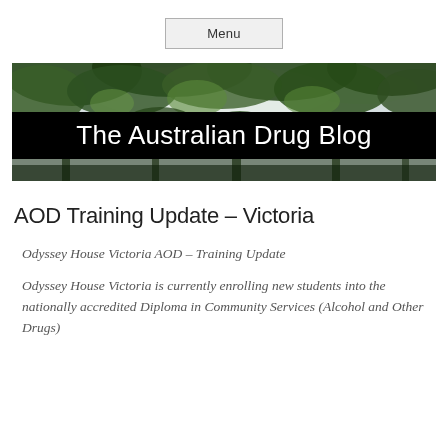Menu
[Figure (illustration): Banner image of trees with green foliage viewed from below against the sky, with a black title bar overlay reading 'The Australian Drug Blog']
AOD Training Update – Victoria
Odyssey House Victoria AOD – Training Update
Odyssey House Victoria is currently enrolling new students into the nationally accredited Diploma in Community Services (Alcohol and Other Drugs)